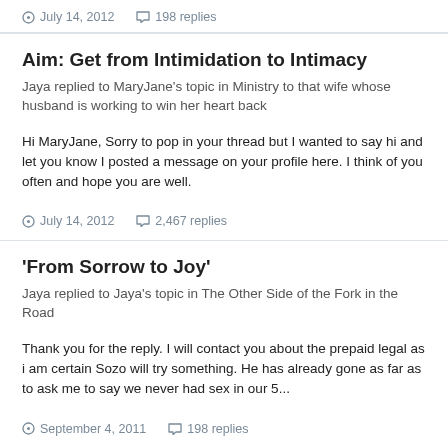July 14, 2012   198 replies
Aim: Get from Intimidation to Intimacy
Jaya replied to MaryJane's topic in Ministry to that wife whose husband is working to win her heart back
Hi MaryJane, Sorry to pop in your thread but I wanted to say hi and let you know I posted a message on your profile here. I think of you often and hope you are well.
July 14, 2012   2,467 replies
'From Sorrow to Joy'
Jaya replied to Jaya's topic in The Other Side of the Fork in the Road
Thank you for the reply. I will contact you about the prepaid legal as i am certain Sozo will try something. He has already gone as far as to ask me to say we never had sex in our 5...
September 4, 2011   198 replies